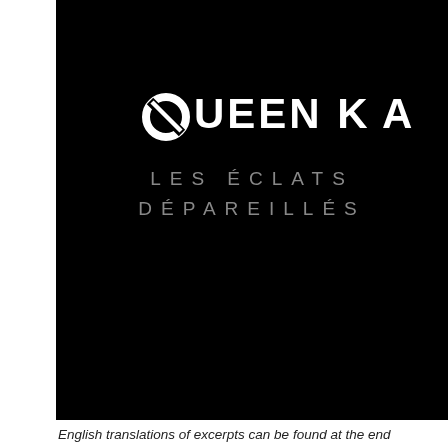[Figure (illustration): Black cover image with white bold logo text 'QUEEN KA' and subtitle 'LES ÉCLATS DÉPAREILLÉS' in grey on black background]
English translations of excerpts can be found at the end